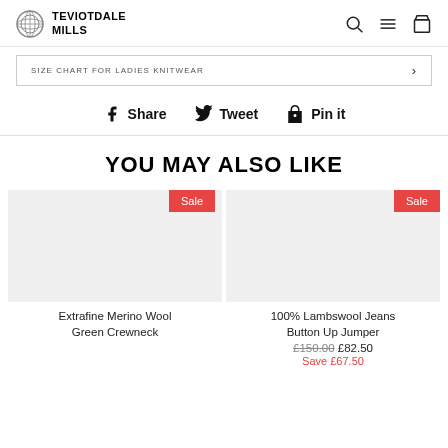TEVIOTDALE MILLS
SIZE CHART FOR LADIES KNITWEAR
Share   Tweet   Pin it
YOU MAY ALSO LIKE
Extrafine Merino Wool Green Crewneck
100% Lambswool Jeans Button Up Jumper £150.00 £82.50 Save £67.50